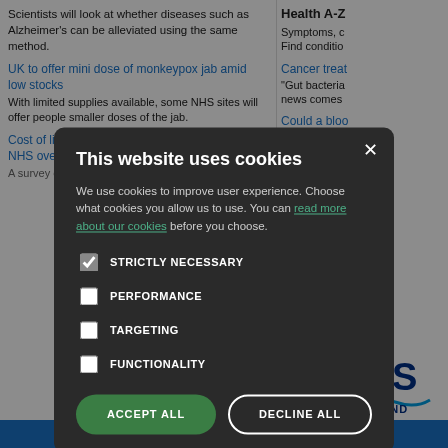Scientists will look at whether diseases such as Alzheimer's can be alleviated using the same method.
UK to offer mini dose of monkeypox jab amid low stocks
With limited supplies available, some NHS sites will offer people smaller doses of the jab.
Cost of living: 700 doctors could leave Welsh NHS over pay - union
Health A-Z Symptoms, c Find conditio
Cancer treat "Gut bacteria news comes
Could a bloo "Tissue infla headline in T
Acid reflux d "A drug com than doubled
Nutrient drin A new study Alzheimer's
Marriage ma "Marriage an
[Figure (screenshot): Cookie consent modal overlay on NHS Scotland website. Dark background modal with title 'This website uses cookies', body text explaining cookie usage with a link 'read more about our cookies', four checkboxes (STRICTLY NECESSARY checked, PERFORMANCE, TARGETING, FUNCTIONALITY unchecked), and two buttons: ACCEPT ALL (green) and DECLINE ALL (white outline).]
Copyright 2006 - 2022 My Surgery Website | Data Processing Po